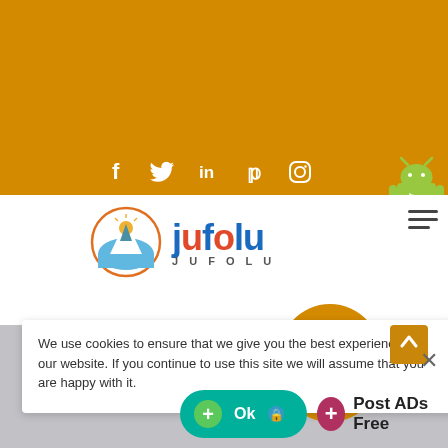[Figure (screenshot): Orange banner/header background at top of webpage]
[Figure (logo): Jufolu website logo with mountain/sun icon and colorful text 'jufolu' with tagline JUFOLU]
We use cookies to ensure that we give you the best experience on our website. If you continue to use this site we will assume that you are happy with it.
What Are You Looking For ...
Post
Ok
Post ADs Free